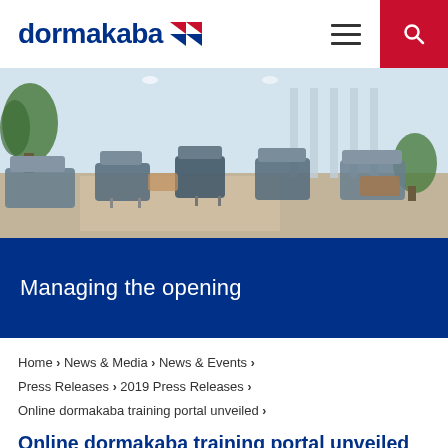dormakaba
[Figure (photo): Interior photo of a modern building lobby or lounge area with blue modular seating pods, chairs, tables, plants, and large windows letting in natural light.]
Managing the opening
Home > News & Media > News & Events > Press Releases > 2019 Press Releases > Online dormakaba training portal unveiled >
Online dormakaba training portal unveiled